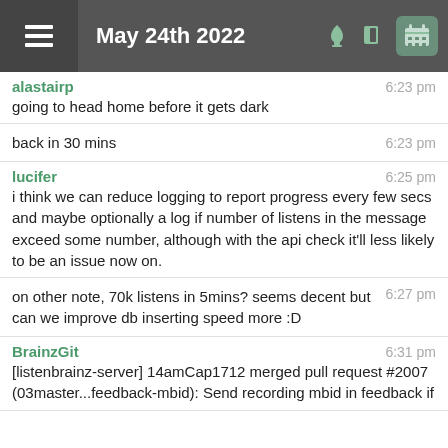May 24th 2022
alastairp
going to head home before it gets dark
6:23 pm
back in 30 mins
6:23 pm
lucifer
i think we can reduce logging to report progress every few secs and maybe optionally a log if number of listens in the message exceed some number, although with the api check it'll less likely to be an issue now on.
6:25 pm
on other note, 70k listens in 5mins? seems decent but can we improve db inserting speed more :D
6:27 pm
BrainzGit
[listenbrainz-server] 14amCap1712 merged pull request #2007 (03master...feedback-mbid): Send recording mbid in feedback if
6:31 pm